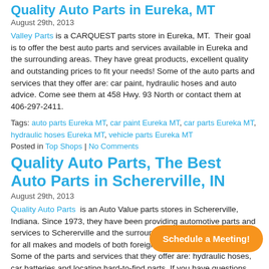Quality Auto Parts in Eureka, MT
August 29th, 2013
Valley Parts is a CARQUEST parts store in Eureka, MT. Their goal is to offer the best auto parts and services available in Eureka and the surrounding areas. They have great products, excellent quality and outstanding prices to fit your needs! Some of the auto parts and services that they offer are: car paint, hydraulic hoses and auto advice. Come see them at 458 Hwy. 93 North or contact them at 406-297-2411.
Tags: auto parts Eureka MT, car paint Eureka MT, car parts Eureka MT, hydraulic hoses Eureka MT, vehicle parts Eureka MT
Posted in Top Shops | No Comments
Quality Auto Parts, The Best Auto Parts in Schererville, IN
August 29th, 2013
Quality Auto Parts is an Auto Value parts stores in Schererville, Indiana. Since 1973, they have been providing automotive parts and services to Schererville and the surrounding areas. They sell parts for all makes and models of both foreign and domestic vehicles. Some of the parts and services that they offer are: hydraulic hoses, car batteries and locating hard-to-find parts. If you have questions about your vehicle, come on by 2100 US Hwy 41 or call them at 219-865-2281.
Tags: auto parts Schererville IN, car batteries Schererville IN, hydraulic hoses Schererville IN, vehicle parts Schererville IN